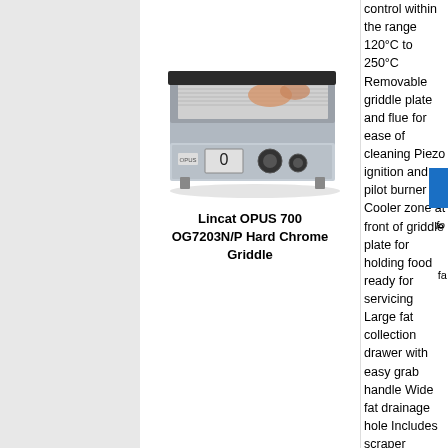[Figure (photo): Lincat OPUS 700 OG7203N/P Hard Chrome Griddle product photo - a commercial gas griddle with chrome cooking surface and control knobs]
Lincat OPUS 700 OG7203N/P Hard Chrome Griddle
control within the range 120°C to 250°C Removable griddle plate and flue for ease of cleaning Piezo ignition and pilot burner Cooler zone at front of griddle plate for holding food ready for servicing Large fat collection drawer with easy grab handle Wide fat drainage hole Includes scraper Warranty: Two Years Parts and Labour Gas Rating : 10kW 700mm x 737mm x